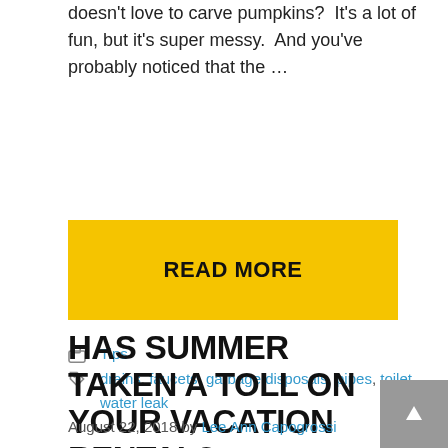doesn't love to carve pumpkins?  It's a lot of fun, but it's super messy.  And you've probably noticed that the …
READ MORE
Tips
drains, faucets, garbage disposals, pipes, toilet, water leak
HAS SUMMER TAKEN A TOLL ON YOUR VACATION RENTAL?
August 22, 2018 by Lee Ann Capogrossi